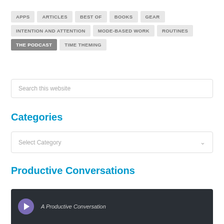APPS
ARTICLES
BEST OF
BOOKS
GEAR
INTENTION AND ATTENTION
MODE-BASED WORK
ROUTINES
THE PODCAST
TIME THEMING
Search this website
Categories
Select Category
Productive Conversations
[Figure (screenshot): A podcast player preview with dark background showing 'A Productive Conversation' text and a purple play button]